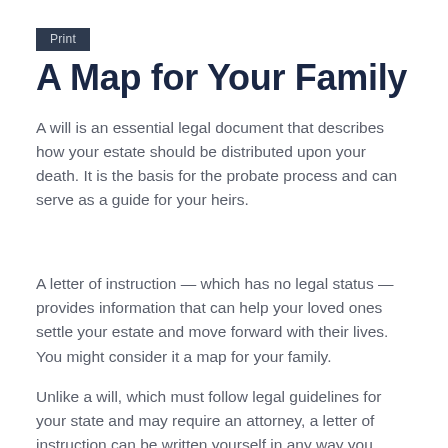Print
A Map for Your Family
A will is an essential legal document that describes how your estate should be distributed upon your death. It is the basis for the probate process and can serve as a guide for your heirs.
A letter of instruction — which has no legal status — provides information that can help your loved ones settle your estate and move forward with their lives. You might consider it a map for your family.
Unlike a will, which must follow legal guidelines for your state and may require an attorney, a letter of instruction can be written yourself in any way you